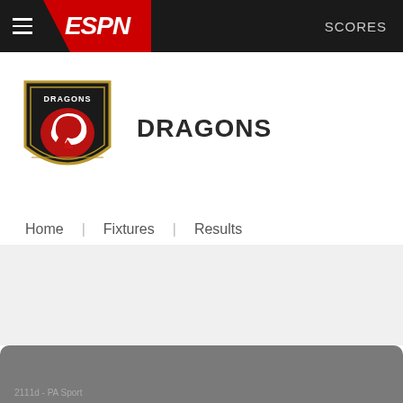ESPN  SCORES
[Figure (logo): Dragons rugby team crest logo — shield shape with red dragon on dark background, gold trim, 'DRAGONS' text at top]
DRAGONS
Home  Fixtures  Results
[Figure (photo): Gray placeholder content area]
2111d - PA Sport